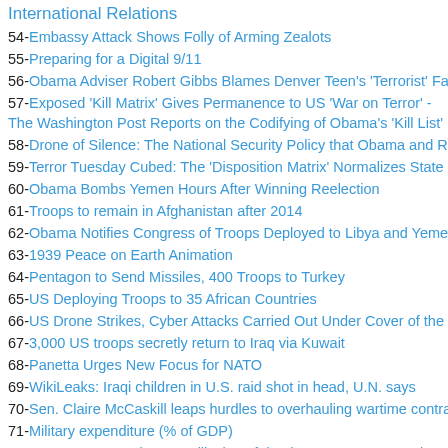International Relations
54-Embassy Attack Shows Folly of Arming Zealots
55-Preparing for a Digital 9/11
56-Obama Adviser Robert Gibbs Blames Denver Teen's 'Terrorist' Fa
57-Exposed 'Kill Matrix' Gives Permanence to US 'War on Terror' - The Washington Post Reports on the Codifying of Obama's 'Kill List'
58-Drone of Silence: The National Security Policy that Obama and R
59-Terror Tuesday Cubed: The 'Disposition Matrix' Normalizes State
60-Obama Bombs Yemen Hours After Winning Reelection
61-Troops to remain in Afghanistan after 2014
62-Obama Notifies Congress of Troops Deployed to Libya and Yeme
63-1939 Peace on Earth Animation
64-Pentagon to Send Missiles, 400 Troops to Turkey
65-US Deploying Troops to 35 African Countries
66-US Drone Strikes, Cyber Attacks Carried Out Under Cover of the
67-3,000 US troops secretly return to Iraq via Kuwait
68-Panetta Urges New Focus for NATO
69-WikiLeaks: Iraqi children in U.S. raid shot in head, U.N. says
70-Sen. Claire McCaskill leaps hurdles to overhauling wartime contra
71-Military expenditure (% of GDP)
72-On Its Way Out, the US Will Give Afghanistan Its Very Own Fleet
73-Special Afghanistan inspector blasts Pentagon, USAID waste